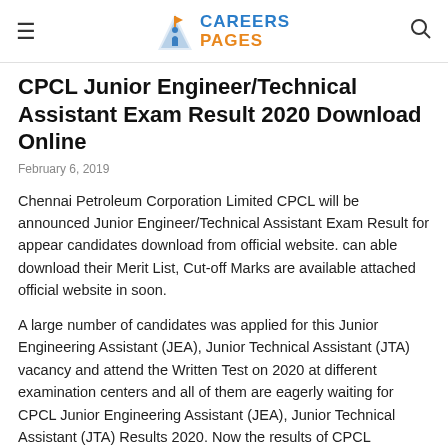CAREERS PAGES
CPCL Junior Engineer/Technical Assistant Exam Result 2020 Download Online
February 6, 2019
Chennai Petroleum Corporation Limited CPCL will be announced Junior Engineer/Technical Assistant Exam Result for appear candidates download from official website. can able download their Merit List, Cut-off Marks are available attached official website in soon.
A large number of candidates was applied for this Junior Engineering Assistant (JEA), Junior Technical Assistant (JTA) vacancy and attend the Written Test on 2020 at different examination centers and all of them are eagerly waiting for CPCL Junior Engineering Assistant (JEA), Junior Technical Assistant (JTA) Results 2020. Now the results of CPCL